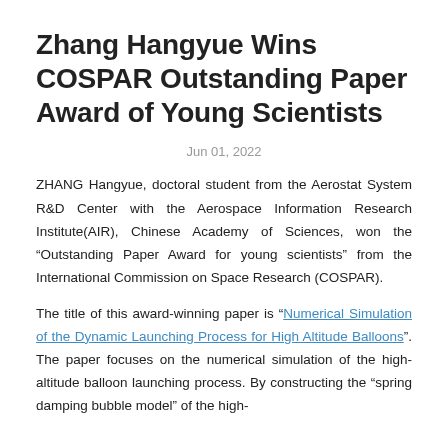Zhang Hangyue Wins COSPAR Outstanding Paper Award of Young Scientists
Jun 01, 2022
ZHANG Hangyue, doctoral student from the Aerostat System R&D Center with the Aerospace Information Research Institute(AIR), Chinese Academy of Sciences, won the "Outstanding Paper Award for young scientists" from the International Commission on Space Research (COSPAR).
The title of this award-winning paper is "Numerical Simulation of the Dynamic Launching Process for High Altitude Balloons". The paper focuses on the numerical simulation of the high-altitude balloon launching process. By constructing the "spring damping bubble model" of the high-